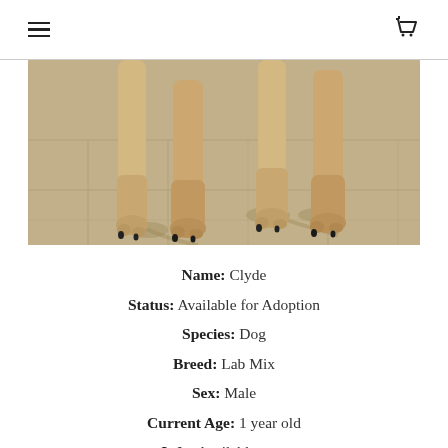≡  🛒
[Figure (photo): Close-up photo of a dog's four legs standing on a concrete/stone tiled floor with shadows cast behind the legs. The dog has a tan/golden coat and visible black nails.]
Name: Clyde
Status: Available for Adoption
Species: Dog
Breed: Lab Mix
Sex: Male
Current Age: 1 year old
Info: Available now